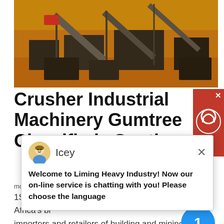[Figure (photo): Industrial crusher machinery at a mining site with conveyor belts and equipment on orange/red soil]
Crusher Industrial Machinery Gumtree Classifieds South
[Figure (screenshot): Red chat widget button in top right corner with X close button and headset icon]
[Figure (screenshot): Chat popup overlay showing avatar of Icey with message: Welcome to Liming Heavy Industry! Now our on-line service is chatting with you! Please choose the language]
motor needed- Size: 2250 x 1375 x 1675mmItems Available: 1Stock ID: CONE000Sino Plant is one of South Africa's biggest importers and retailers of building and mining equipment. We have a range of over 430 products that stretch from
get price
[Figure (photo): Sandy/rocky terrain ground surface at a mining or construction site]